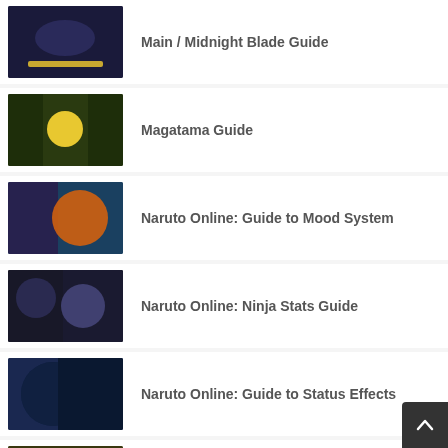Main / Midnight Blade Guide
Magatama Guide
Naruto Online: Guide to Mood System
Naruto Online: Ninja Stats Guide
Naruto Online: Guide to Status Effects
Naruto Online : Summoning Guide